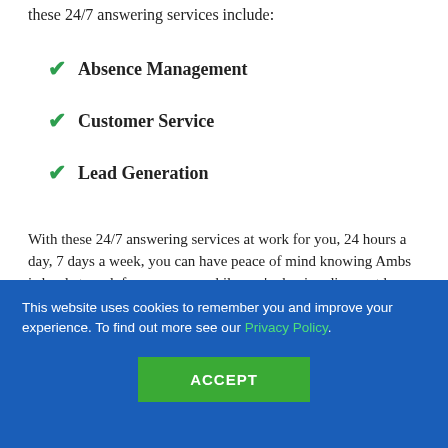these 24/7 answering services include:
Absence Management
Customer Service
Lead Generation
With these 24/7 answering services at work for you, 24 hours a day, 7 days a week, you can have peace of mind knowing Ambs is hard at work for you, even while you're having dinner at home or catching a Steelers game. Couple that with our call center software, and we're constantly building and managing a customer base for your Pittsburgh business. As a comprehensive telephone answering company in Pittsburgh, there are a number of industries and specialties Ambs Call Center is proud to serve in. One of these is the healthcare
This website uses cookies to remember you and improve your experience. To find out more see our Privacy Policy.
ACCEPT